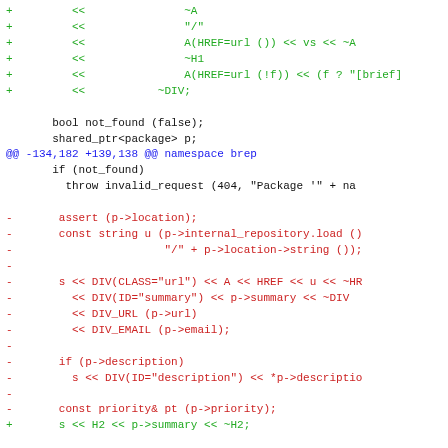[Figure (screenshot): Code diff showing C++ source changes in a software repository browser. Green lines are additions (prefixed with +), red lines are deletions (prefixed with -), black lines are context, and blue lines are diff hunk headers.]